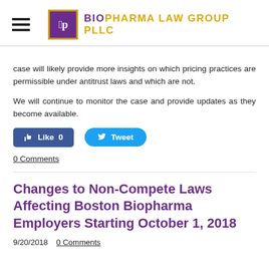BIOPHARMA LAW GROUP PLLC
case will likely provide more insights on which pricing practices are permissible under antitrust laws and which are not.
We will continue to monitor the case and provide updates as they become available.
[Figure (other): Social media buttons: Facebook Like (0) and Twitter Tweet]
0 Comments
Changes to Non-Compete Laws Affecting Boston Biopharma Employers Starting October 1, 2018
9/20/2018  0 Comments